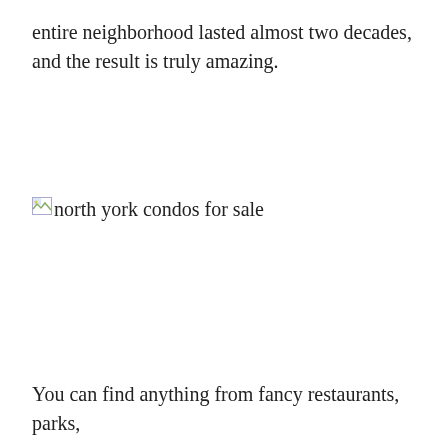entire neighborhood lasted almost two decades, and the result is truly amazing.
[Figure (photo): Broken image placeholder with alt text 'north york condos for sale']
You can find anything from fancy restaurants, parks,